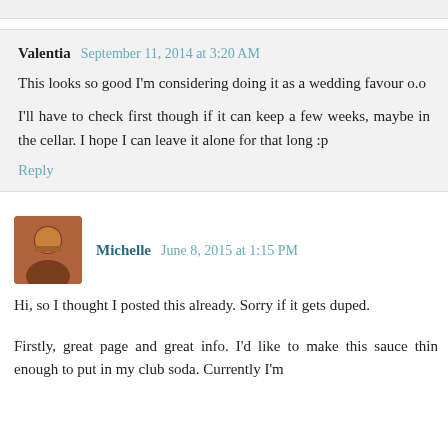Valentia September 11, 2014 at 3:20 AM
This looks so good I'm considering doing it as a wedding favour o.o
I'll have to check first though if it can keep a few weeks, maybe in the cellar. I hope I can leave it alone for that long :p
Reply
Michelle June 8, 2015 at 1:15 PM
Hi, so I thought I posted this already. Sorry if it gets duped.
Firstly, great page and great info. I'd like to make this sauce thin enough to put in my club soda. Currently I'm